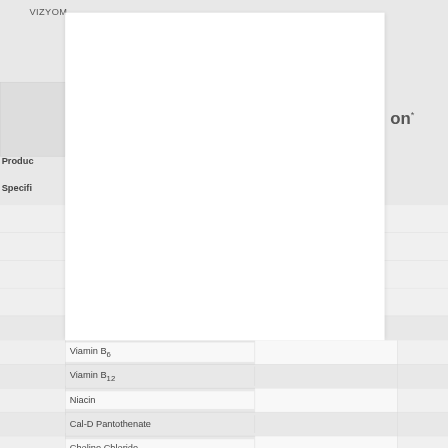VIZYOM...
|  | Ingredient | on* |
| --- | --- | --- |
| Product |  |  |
| Specific |  |  |
|  |  |  |
|  |  |  |
|  |  |  |
|  | Viamin B6 |  |
|  | Viamin B12 |  |
|  | Niacin |  |
|  | Cal-D Pantothenate |  |
|  | Choline Chloride |  |